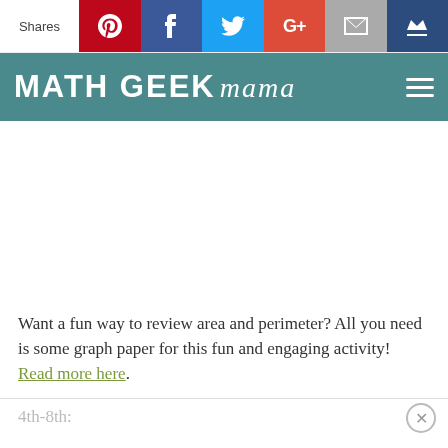Shares
[Figure (screenshot): Math Geek Mama website logo bar with teal background, bold white uppercase text MATH GEEK and italic script mama, with hamburger menu icon on right]
Want a fun way to review area and perimeter? All you need is some graph paper for this fun and engaging activity! Read more here.
4th-8th: